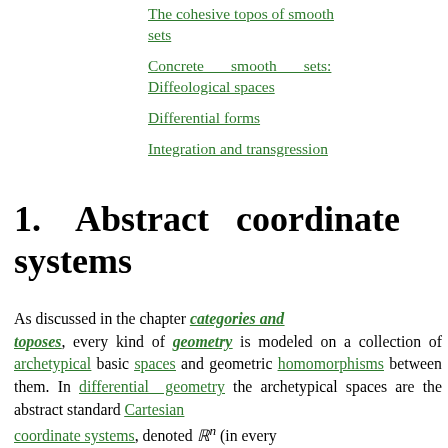The cohesive topos of smooth sets
Concrete smooth sets: Diffeological spaces
Differential forms
Integration and transgression
1.   Abstract coordinate systems
As discussed in the chapter categories and toposes, every kind of geometry is modeled on a collection of archetypical basic spaces and geometric homomorphisms between them. In differential geometry the archetypical spaces are the abstract standard Cartesian coordinate systems, denoted ℝⁿ (in every